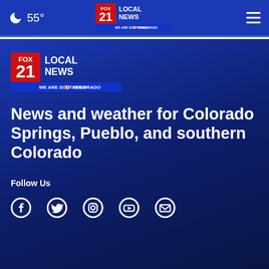55° FOX 21 LOCAL NEWS WE ARE SOUTHERN COLORADO
[Figure (logo): FOX 21 Local News logo — WE ARE SOUTHERN COLORADO]
News and weather for Colorado Springs, Pueblo, and southern Colorado
Follow Us
[Figure (infographic): Social media icons: Facebook, Twitter, Instagram, YouTube, Email]